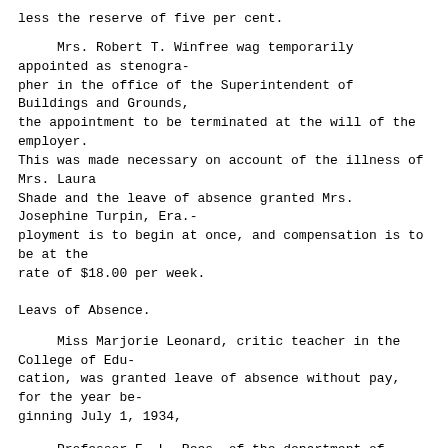less the reserve of five per cent.
Mrs. Robert T. Winfree wag temporarily appointed as stenographer in the office of the Superintendent of Buildings and Grounds, the appointment to be terminated at the will of the employer. This was made necessary on account of the illness of Mrs. Laura Shade and the leave of absence granted Mrs. Josephine Turpin, Era.- ployment is to begin at once, and compensation is to be at the rate of $18.00 per week.
Leavs of Absence.
Miss Marjorie Leonard, critic teacher in the College of Education, was granted leave of absence without pay, for the year beginning July 1, 1934,
Professor E, L. Rees, of the department of Mathematics, was granted continuation of leave of absence without say for year beginning July 1, 1934,